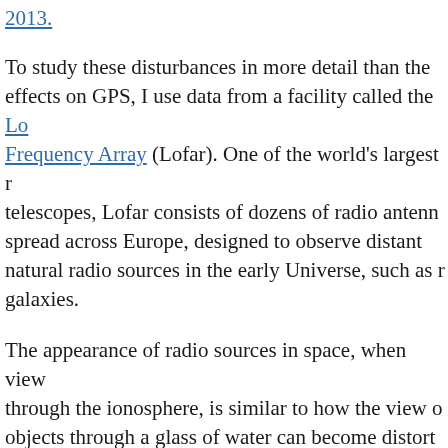2013.
To study these disturbances in more detail than the effects on GPS, I use data from a facility called the Low Frequency Array (Lofar). One of the world's largest radio telescopes, Lofar consists of dozens of radio antennas spread across Europe, designed to observe distant natural radio sources in the early Universe, such as radio galaxies.
The appearance of radio sources in space, when viewed through the ionosphere, is similar to how the view of objects through a glass of water can become distorted when we stir (or shake) it up.
With careful analysis, one can use these distortions to understand what is happening in the ionosphere itself. Traveling ionospheric disturbances can enhance these distortions, particularly at the radio wavelengths us...